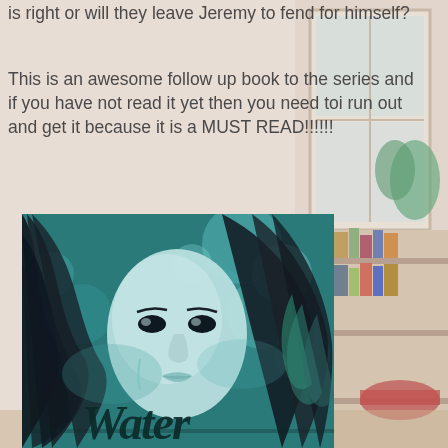is right or will they leave Jeremy to fend for himself?
This is an awesome follow up book to the series and if you have not read it yet then you need toi run out and get it because it is a MUST READ!!!!!!
[Figure (illustration): Book cover showing a woman with long black flowing hair underwater, with teal/mint green tones, with the title 'Water' visible at the bottom in stylized dark script]